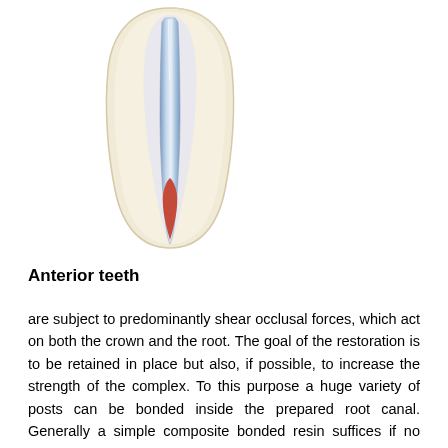[Figure (illustration): Cross-sectional illustration of an anterior tooth showing internal anatomy: outer ivory/cream colored tooth structure, inner root canal space with a metallic/blue post inserted from the crown down into the root, and reddish pulp tissue at the apical portion of the root.]
Anterior teeth
are subject to predominantly shear occlusal forces, which act on both the crown and the root. The goal of the restoration is to be retained in place but also, if possible, to increase the strength of the complex. To this purpose a huge variety of posts can be bonded inside the prepared root canal. Generally a simple composite bonded resin suffices if no crown has been planned. If a full crown is the chosen restorative solution, the